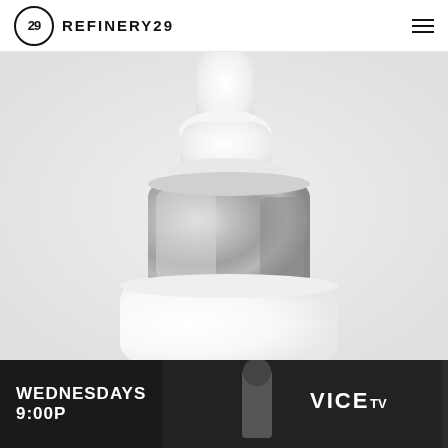REFINERY29
[Figure (photo): Close-up photo of a white cosmetic/beauty product bottle with a large silver/metallic pump dispenser head. The bottle is white and the pump collar is a wide silver metallic band. The background is light gray/white.]
[Figure (photo): Advertisement banner for VICE TV showing 'WEDNESDAYS 9:00P' text in white bold font on a dark background, with a black-and-white photo of a person and the VICE TV logo.]